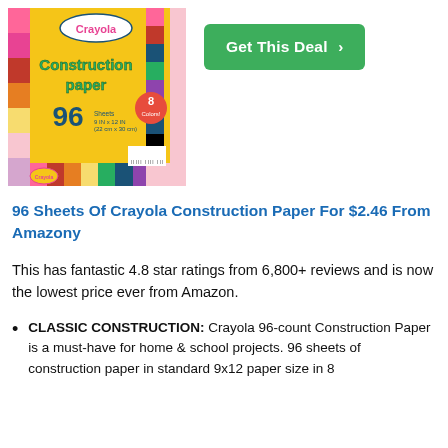[Figure (photo): Crayola Construction Paper product package — yellow background, 96 sheets, 8 colors, 9x12 inches]
Get This Deal ›
96 Sheets Of Crayola Construction Paper For $2.46 From Amazony
This has fantastic 4.8 star ratings from 6,800+ reviews and is now the lowest price ever from Amazon.
CLASSIC CONSTRUCTION: Crayola 96-count Construction Paper is a must-have for home & school projects. 96 sheets of construction paper in standard 9x12 paper size in 8